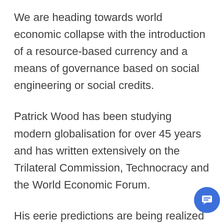We are heading towards world economic collapse with the introduction of a resource-based currency and a means of governance based on social engineering or social credits.
Patrick Wood has been studying modern globalisation for over 45 years and has written extensively on the Trilateral Commission, Technocracy and the World Economic Forum.
His eerie predictions are being realized in the wake of Covid-19 and the emergency powers governments have given themselves.
[Figure (other): Blue circular chat button with speech bubble icon in bottom right corner]